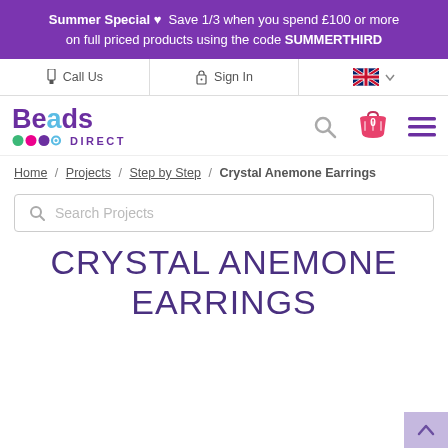Summer Special ♥  Save 1/3 when you spend £100 or more on full priced products using the code SUMMERTHIRD
Call Us | Sign In | [UK flag]
[Figure (logo): Beads Direct logo with coloured dot icons]
Home / Projects / Step by Step / Crystal Anemone Earrings
Search Projects
CRYSTAL ANEMONE EARRINGS